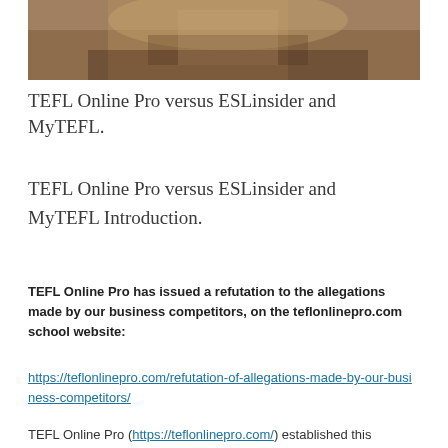[Figure (photo): Photo of a person's hands on a laptop keyboard, viewed from above at an angle, on a wooden desk. The person is wearing bracelets/jewelry.]
TEFL Online Pro versus ESLinsider and MyTEFL.
TEFL Online Pro versus ESLinsider and MyTEFL Introduction.
TEFL Online Pro has issued a refutation to the allegations made by our business competitors, on the teflonlinepro.com school website:
https://teflonlinepro.com/refutation-of-allegations-made-by-our-business-competitors/
TEFL Online Pro (https://teflonlinepro.com/) established this